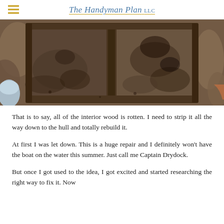The Handyman Plan LLC
[Figure (photo): Overhead view of a boat hull interior showing two wooden compartments with rotten, dirty wooden framing and debris inside, surrounded by soil and organic material]
That is to say, all of the interior wood is rotten. I need to strip it all the way down to the hull and totally rebuild it.
At first I was let down. This is a huge repair and I definitely won't have the boat on the water this summer. Just call me Captain Drydock.
But once I got used to the idea, I got excited and started researching the right way to fix it. Now